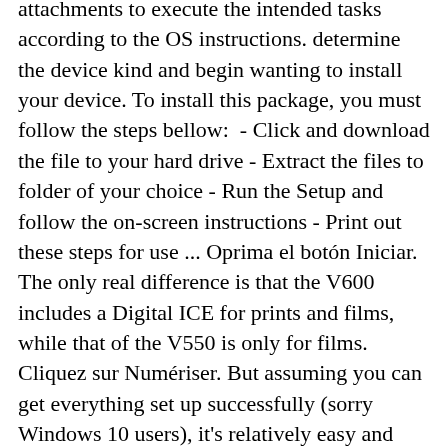attachments to execute the intended tasks according to the OS instructions. determine the device kind and begin wanting to install your device. To install this package, you must follow the steps bellow: - Click and download the file to your hard drive - Extract the files to folder of your choice - Run the Setup and follow the on-screen instructions - Print out these steps for use ... Oprima el botón Iniciar. The only real difference is that the V600 includes a Digital ICE for prints and films, while that of the V550 is only for films. Cliquez sur Numériser. But assuming you can get everything set up successfully (sorry Windows 10 users), it's relatively easy and straightforward to get decent-looking scans using Home mode, especially if you're only looking to scan 35mm. View & download of more than 17322 Epson PDF user manuals, service manuals, operating guides.